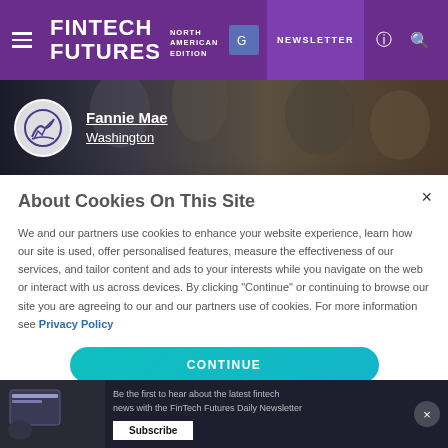FINTECH FUTURES NORTH AMERICAN EDITION | NEWSLETTER
[Figure (screenshot): Hero banner with blurred photo of people in office meeting, overlaid with Fannie Mae logo circle and text links 'Fannie Mae' and 'Washington']
About Cookies On This Site
We and our partners use cookies to enhance your website experience, learn how our site is used, offer personalised features, measure the effectiveness of our services, and tailor content and ads to your interests while you navigate on the web or interact with us across devices. By clicking "Continue" or continuing to browse our site you are agreeing to our and our partners use of cookies. For more information see Privacy Policy
CONTINUE
Be the first to hear about the latest fintech news with the FinTech Futures Daily Newsletter
Subscribe